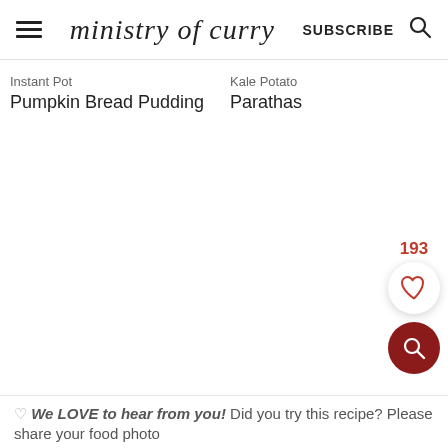ministry of curry  SUBSCRIBE
Instant Pot Pumpkin Bread Pudding
Kale Potato Parathas
193
♥ We LOVE to hear from you! Did you try this recipe? Please share your food photo